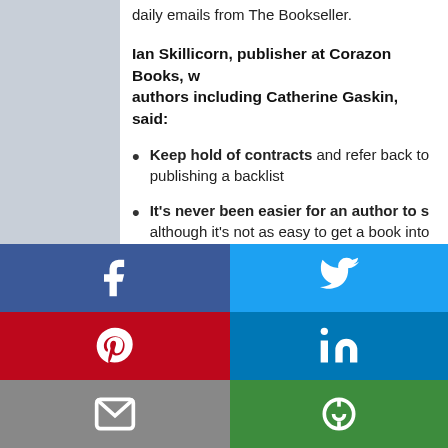daily emails from The Bookseller.
Ian Skillicorn, publisher at Corazon Books, who publishes authors including Catherine Gaskin, said:
Keep hold of contracts and refer back to them when publishing a backlist
It's never been easier for an author to self-publish, although it's not as easy to get a book into...
Do you have the time, skills, budget ne... book would become a bestseller without s... promote it
[Figure (infographic): Social media share buttons: Facebook, Twitter, Pinterest, LinkedIn, Email, and a save/bookmark icon arranged in a 2x3 grid overlay]